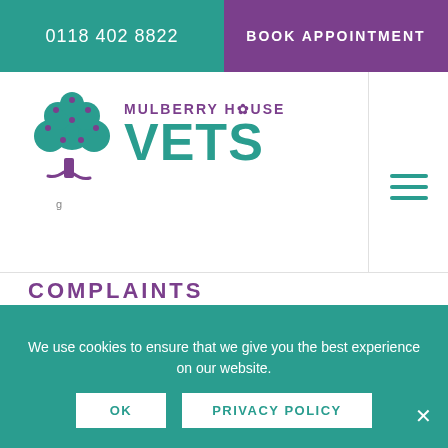0118 402 8822 | BOOK APPOINTMENT
[Figure (logo): Mulberry House Vets logo with tree illustration and teal VETS wordmark]
COMPLAINTS
We hope that you never have a reason to complain about the standard of care and service received from Mulberry House Vets. However if you do find there is
We use cookies to ensure that we give you the best experience on our website.
OK | PRIVACY POLICY